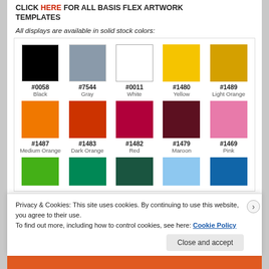CLICK HERE FOR ALL BASIS FLEX ARTWORK TEMPLATES
All displays are available in solid stock colors:
[Figure (other): Color swatch grid showing 15 solid stock colors in 3 rows: Row 1: #0058 Black, #7544 Gray, #0011 White, #1480 Yellow, #1489 Light Orange. Row 2: #1487 Medium Orange, #1483 Dark Orange, #1482 Red, #1479 Maroon, #1469 Pink. Row 3 (partial): green swatches, light blue, dark blue (cut off)]
Privacy & Cookies: This site uses cookies. By continuing to use this website, you agree to their use.
To find out more, including how to control cookies, see here: Cookie Policy
Close and accept